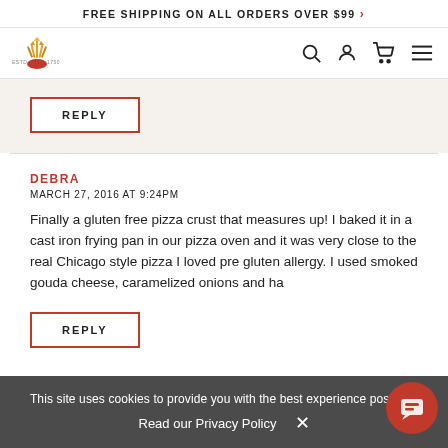FREE SHIPPING ON ALL ORDERS OVER $99 >
[Figure (logo): Bob's Red Mill logo with crown and grain icon, ESTD 1750]
REPLY
DEBRA
MARCH 27, 2016 AT 9:24PM
Finally a gluten free pizza crust that measures up! I baked it in a cast iron frying pan in our pizza oven and it was very close to the real Chicago style pizza I loved pre gluten allergy. I used smoked gouda cheese, caramelized onions and ha
This site uses cookies to provide you with the best experience possible.
Read our Privacy Policy
REPLY